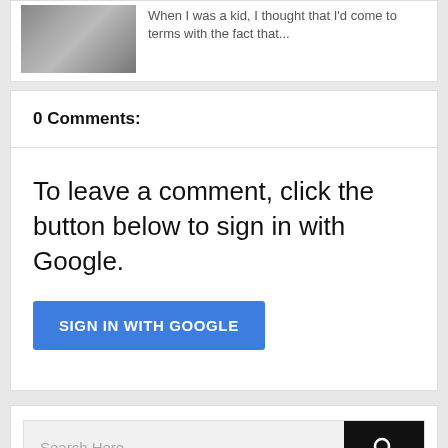[Figure (photo): Thumbnail image of person using laptop/keyboard]
When I was a kid, I thought that I'd come to terms with the fact that...
0 Comments:
To leave a comment, click the button below to sign in with Google.
SIGN IN WITH GOOGLE
Search Here...